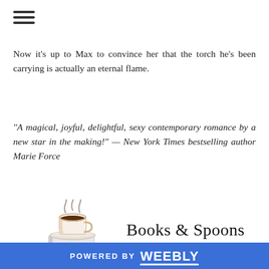☰ (hamburger menu icon)
Now it's up to Max to convince her that the torch he's been carrying is actually an eternal flame.
“A magical, joyful, delightful, sexy contemporary romance by a new star in the making!” — New York Times bestselling author Marie Force
[Figure (logo): Books & Spoons website logo showing a stack of books with a coffee cup on top, with steam rising, next to the text 'Books & Spoons' and 'Excerpt' in typewriter font]
Read 3 by mouth at her
POWERED BY weebly